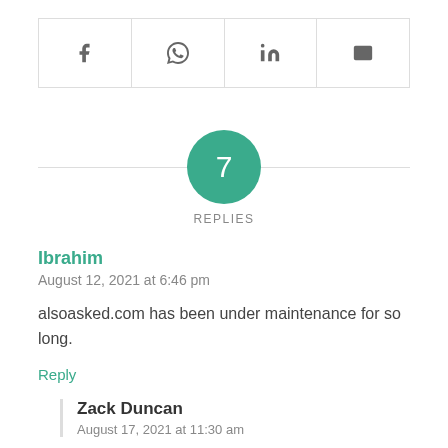[Figure (other): Social share bar with four icons: Facebook (f), WhatsApp (circle with phone), LinkedIn (in), Email (envelope)]
[Figure (infographic): Green circle badge with the number 7 centered on a horizontal divider line, labeled REPLIES below]
Ibrahim
August 12, 2021 at 6:46 pm
alsoasked.com has been under maintenance for so long.
Reply
Zack Duncan
August 17, 2021 at 11:30 am